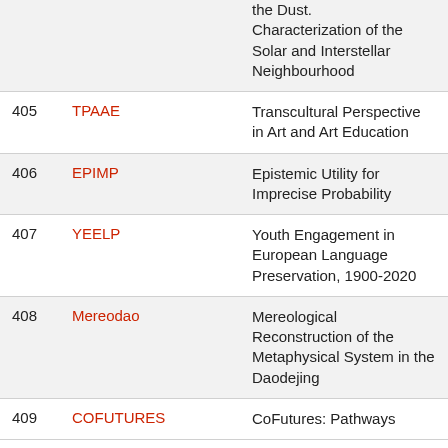| # | Code | Title |
| --- | --- | --- |
|  |  | the Dust. Characterization of the Solar and Interstellar Neighbourhood |
| 405 | TPAAE | Transcultural Perspective in Art and Art Education |
| 406 | EPIMP | Epistemic Utility for Imprecise Probability |
| 407 | YEELP | Youth Engagement in European Language Preservation, 1900-2020 |
| 408 | Mereodao | Mereological Reconstruction of the Metaphysical System in the Daodejing |
| 409 | COFUTURES | CoFutures: Pathways… |